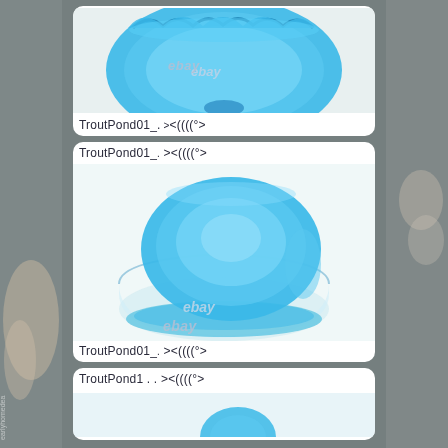[Figure (photo): eBay product listing collage showing blue glass/plastic bowls with ruffled edges. Left strip shows a hand holding something. Right strip shows a blurred background. Center column has three product photo cards: top card shows a blue ruffled glass bowl from above cropped, middle card shows a blue lid/plate resting on a clear glass bowl with blue liquid, bottom card partially visible. Each card has 'TroutPond01_. ><((((°>' watermark text and an 'ebay' overlay watermark.]